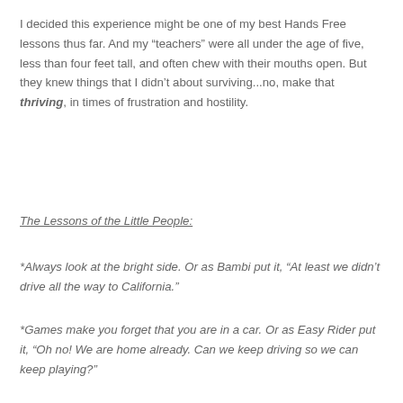I decided this experience might be one of my best Hands Free lessons thus far. And my “teachers” were all under the age of five, less than four feet tall, and often chew with their mouths open. But they knew things that I didn’t about surviving...no, make that thriving, in times of frustration and hostility.
The Lessons of the Little People:
*Always look at the bright side. Or as Bambi put it, “At least we didn’t drive all the way to California.”
*Games make you forget that you are in a car. Or as Easy Rider put it, “Oh no! We are home already. Can we keep driving so we can keep playing?”